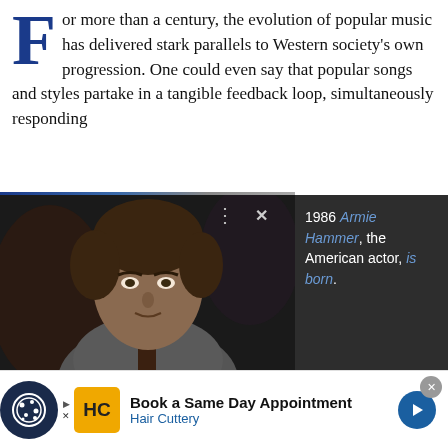For more than a century, the evolution of popular music has delivered stark parallels to Western society's own progression. One could even say that popular songs and styles partake in a tangible feedback loop, simultaneously responding
[Figure (photo): Screenshot of a web page showing a photo of Armie Hammer in a suit, with a Wikipedia-style tooltip popup showing '1986 Armie Hammer, the American actor, is born.' overlaid on the image. Below is a larger cropped photo of the same person.]
1986 Armie Hammer, the American actor, is born.
[Figure (photo): Advertisement bar at the bottom: cookie consent icon on the left, Hair Cuttery ad saying 'Book a Same Day Appointment' with HC logo and navigation arrow icon.]